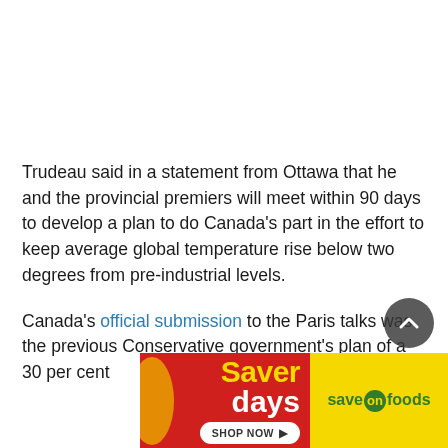Trudeau said in a statement from Ottawa that he and the provincial premiers will meet within 90 days to develop a plan to do Canada's part in the effort to keep average global temperature rise below two degrees from pre-industrial levels.
Canada's official submission to the Paris talks was the previous Conservative government's plan of a 30 per cent
[Figure (other): Save-On Foods 'Saver Days' advertisement banner with red left section showing 'Saver days' text and 'SHOP NOW' button, and yellow right section with 'save on foods' green logo]